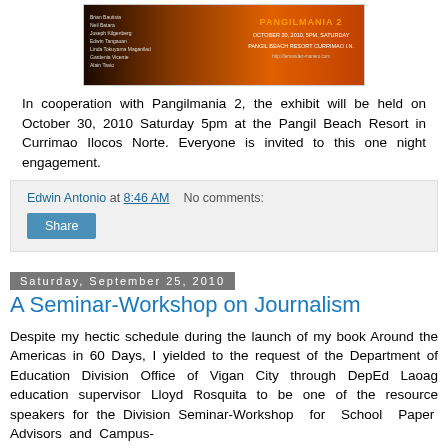[Figure (photo): Pangilmania 2 event banner with sunset/silhouette background, listing names and event details: October 30, 2010, 5PM, Saturday, Pangil Beach Resort Currimao I.N.]
In cooperation with Pangilmania 2, the exhibit will be held on October 30, 2010 Saturday 5pm at the Pangil Beach Resort in Currimao Ilocos Norte. Everyone is invited to this one night engagement.
Edwin Antonio at 8:46 AM   No comments:
Share
Saturday, September 25, 2010
A Seminar-Workshop on Journalism
Despite my hectic schedule during the launch of my book Around the Americas in 60 Days, I yielded to the request of the Department of Education Division Office of Vigan City through DepEd Laoag education supervisor Lloyd Rosquita to be one of the resource speakers for the Division Seminar-Workshop for School Paper Advisors and Campus-